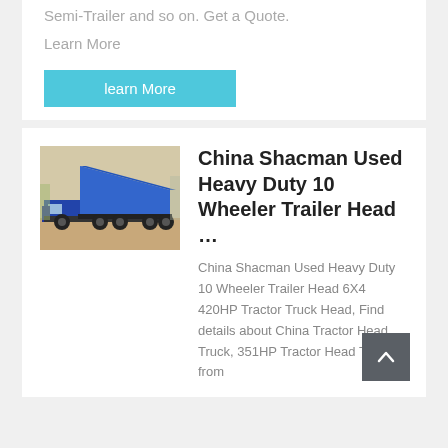Semi-Trailer and so on. Get a Quote.
Learn More
learn More
[Figure (photo): Blue dump truck with raised cargo bed, showing Shacman heavy duty truck]
China Shacman Used Heavy Duty 10 Wheeler Trailer Head ...
China Shacman Used Heavy Duty 10 Wheeler Trailer Head 6X4 420HP Tractor Truck Head, Find details about China Tractor Head Truck, 351HP Tractor Head Truck from